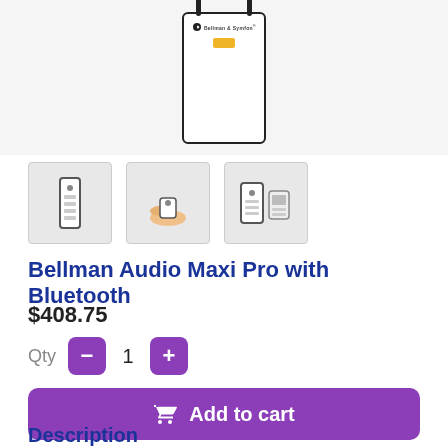[Figure (photo): Main product image of Bellman Audio Maxi Pro device with two antennas, white body, Bellman & Symfon logo, and yellow battery indicator]
[Figure (photo): Thumbnail 1: Bellman Audio Maxi Pro remote/device front view]
[Figure (photo): Thumbnail 2: Bellman Audio Maxi Pro held in a hand]
[Figure (photo): Thumbnail 3: Bellman Audio Maxi Pro with accessories]
Bellman Audio Maxi Pro with Bluetooth
$408.75
Qty 1
Add to cart
Description